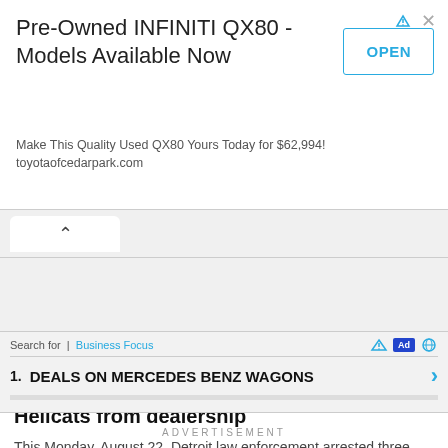[Figure (screenshot): Advertisement banner for Pre-Owned INFINITI QX80 with OPEN button]
Pre-Owned INFINITI QX80 - Models Available Now
Make This Quality Used QX80 Yours Today for $62,994! toyotaofcedarpark.com
[Figure (screenshot): Tab/navigation area with up-caret tab button]
[Figure (screenshot): Gray content image area with CAR badge]
Ages 11, 12 and 14 try to steal Dodge Hellcats from dealership
This Monday, August 22, Detroit law enforcement arrested three budding car thieves. All minors, their very young age
[Figure (screenshot): Bottom advertisement: Search for | Business Focus — 1. DEALS ON MERCEDES BENZ WAGONS]
ADVERTISEMENT